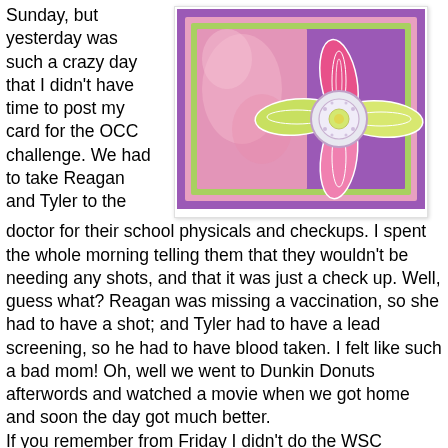Sunday, but yesterday was such a crazy day that I didn't have time to post my card for the OCC challenge. We had to take Reagan and Tyler to the doctor for their school physicals and checkups.
[Figure (illustration): A handmade greeting card with a purple background, pink square inset, and a decorative flower with green and yellow petals and a white button center, surrounded by a pink border.]
I spent the whole morning telling them that they wouldn't be needing any shots, and that it was just a check up. Well, guess what? Reagan was missing a vaccination, so she had to have a shot; and Tyler had to have a lead screening, so he had to have blood taken. I felt like such a bad mom! Oh, well we went to Dunkin Donuts afterwords and watched a movie when we got home and soon the day got much better. If you remember from Friday I didn't do the WSC challenge because I was hoping that I could combine that one with the OCC challenge; but since the OCC was a sketch challenge that didn't quite work out that way. I knew that when I started the card I really wanted to use the shaving cream technique, then I had to change course and the pink background I had...